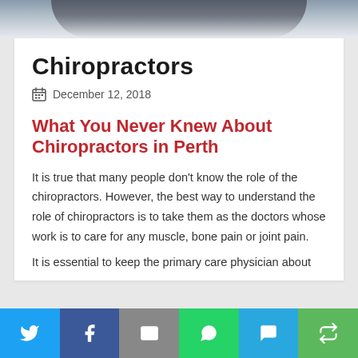[Figure (photo): Partial view of person's lower body/shoes in dark clothing against a light background, cropped at top of page]
Chiropractors
December 12, 2018
What You Never Knew About Chiropractors in Perth
It is true that many people don't know the role of the chiropractors. However, the best way to understand the role of chiropractors is to take them as the doctors whose work is to care for any muscle, bone pain or joint pain.
It is essential to keep the primary care physician about